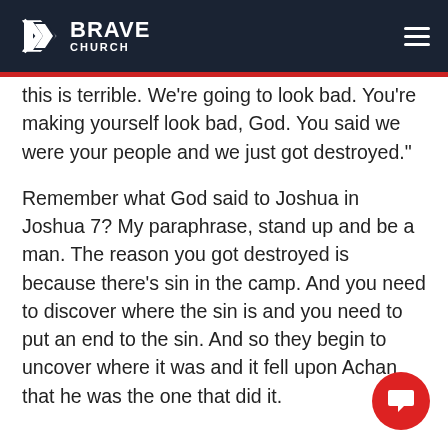BRAVE CHURCH
this is terrible. We're going to look bad. You're making yourself look bad, God. You said we were your people and we just got destroyed."
Remember what God said to Joshua in Joshua 7? My paraphrase, stand up and be a man. The reason you got destroyed is because there's sin in the camp. And you need to discover where the sin is and you need to put an end to the sin. And so they begin to uncover where it was and it fell upon Achan that he was the one that did it.